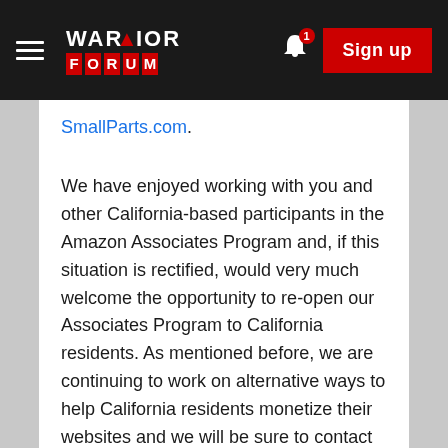Warrior Forum — navigation bar with hamburger menu, logo, bell notification (1), and Sign up button
SmallParts.com.
We have enjoyed working with you and other California-based participants in the Amazon Associates Program and, if this situation is rectified, would very much welcome the opportunity to re-open our Associates Program to California residents. As mentioned before, we are continuing to work on alternative ways to help California residents monetize their websites and we will be sure to contact you when these become available.